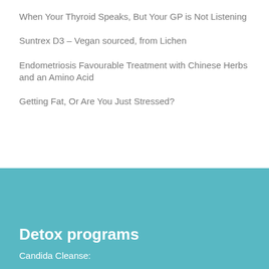When Your Thyroid Speaks, But Your GP is Not Listening
Suntrex D3 – Vegan sourced, from Lichen
Endometriosis Favourable Treatment with Chinese Herbs and an Amino Acid
Getting Fat, Or Are You Just Stressed?
Detox programs
Candida Cleanse: